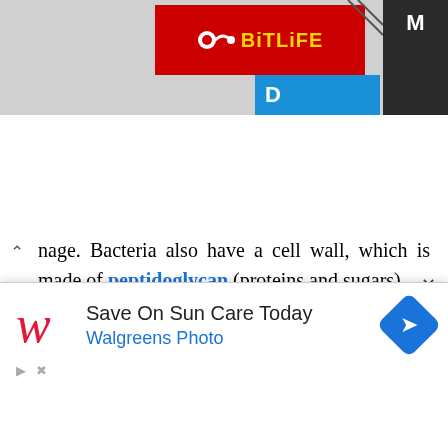[Figure (screenshot): BitLife advertisement banner (red background with yellow BitLife logo and blue tab showing 'D') and a dark strip on the right showing 'M']
nage. Bacteria also have a cell wall, which is made of peptidoglycan (proteins and sugars).
Bacteria reproduce in a process called binary fission. It"s very simple—the bacterium replicates its single chromosome, then splits in half. Each of the new daughter cells gets one of the chromosomes, and about half the
[Figure (screenshot): Walgreens advertisement popup: 'Save On Sun Care Today' with Walgreens Photo text and navigation icon. Bottom shows play/close icons.]